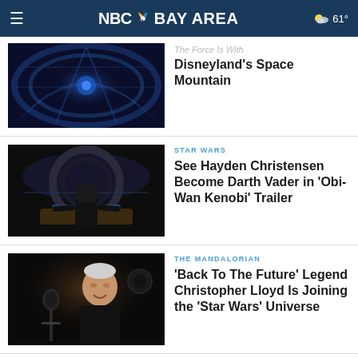NBC Bay Area  61°
[Figure (photo): Blue-lit interior of Space Mountain ride at Disneyland]
The Force Is With Disneyland's Space Mountain
[Figure (photo): Hayden Christensen standing in a Star Wars Millennium Falcon cockpit set]
STAR WARS
See Hayden Christensen Become Darth Vader in 'Obi-Wan Kenobi' Trailer
[Figure (photo): Christopher Lloyd smiling near a microphone in a dark studio]
THE MANDALORIAN
'Back To The Future' Legend Christopher Lloyd Is Joining the 'Star Wars' Universe